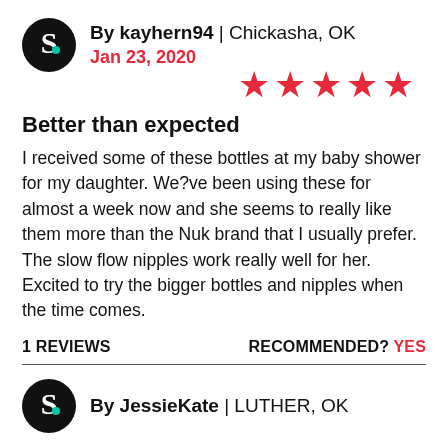By kayhern94 | Chickasha, OK
Jan 23, 2020
[Figure (other): 5 red stars rating]
Better than expected
I received some of these bottles at my baby shower for my daughter. We?ve been using these for almost a week now and she seems to really like them more than the Nuk brand that I usually prefer. The slow flow nipples work really well for her. Excited to try the bigger bottles and nipples when the time comes.
1 REVIEWS   RECOMMENDED? YES
By JessieKate | LUTHER, OK